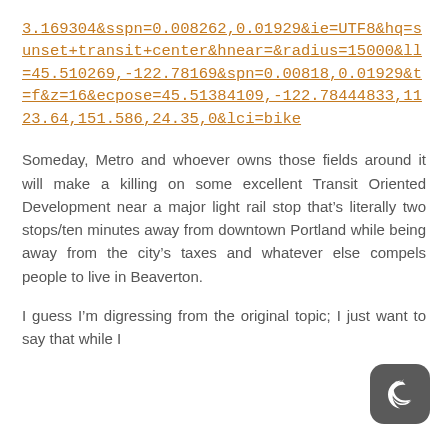3.169304&sspn=0.008262,0.01929&ie=UTF8&hq=sunset+transit+center&hnear=&radius=15000&ll=45.510269,-122.78169&spn=0.00818,0.01929&t=f&z=16&ecpose=45.51384109,-122.78444833,1123.64,151.586,24.35,0&lci=bike
Someday, Metro and whoever owns those fields around it will make a killing on some excellent Transit Oriented Development near a major light rail stop that's literally two stops/ten minutes away from downtown Portland while being away from the city's taxes and whatever else compels people to live in Beaverton.
I guess I'm digressing from the original topic; I just want to say that while I
[Figure (illustration): Dark mode toggle button icon - dark gray rounded square with a crescent moon symbol in white]